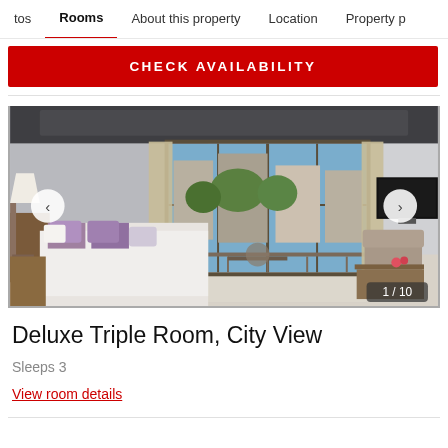tos   Rooms   About this property   Location   Property p
CHECK AVAILABILITY
[Figure (photo): Hotel room photo showing a Deluxe Triple Room with city view. The room features a large bed with purple/mauve decorative pillows, a wall-mounted flat-screen TV, a seating area with chairs, a lamp, and a balcony with sliding glass doors overlooking a city street with trees and buildings. Navigation arrows on left and right sides, image counter showing 1/10.]
Deluxe Triple Room, City View
Sleeps 3
View room details